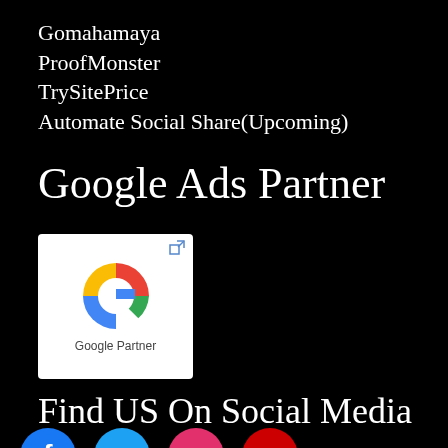Gomahamaya
ProofMonster
TrySitePrice
Automate Social Share(Upcoming)
Google Ads Partner
[Figure (logo): Google Partner badge: white rounded rectangle containing the Google multicolor G logo and text 'Google Partner' below it, with a small external link icon in the top right corner]
Find US On Social Media
[Figure (illustration): Row of social media icon circles partially visible at bottom: Facebook (blue), Twitter (light blue), another (orange/red), and more]